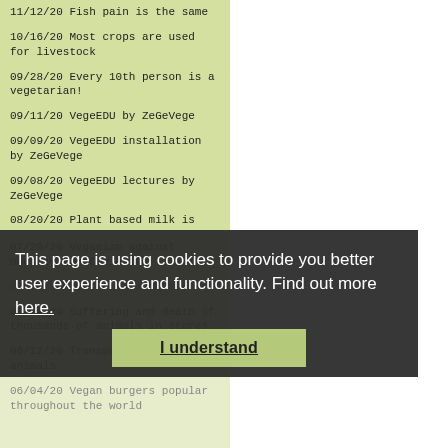11/12/20 Fish pain is the same
10/16/20 Most crops are used for livestock
09/28/20 Every 10th person is a vegetarian!
09/11/20 VegeEDU by ZeGeVege
09/09/20 VegeEDU installation by ZeGeVege
09/08/20 VegeEDU lectures by ZeGeVege
08/20/20 Plant based milk is the best substitute!
07/29/20 Veganism against obesity and Covid-19
07/13/20 Destruction of sea
07/04/20 Suffering and death of thousands of animals in stores
06/12/20 Transport of live animals
06/04/20 Vegan burgers popular throughout the world
This page is using cookies to provide you better user experience and functionality. Find out more here.
I understand